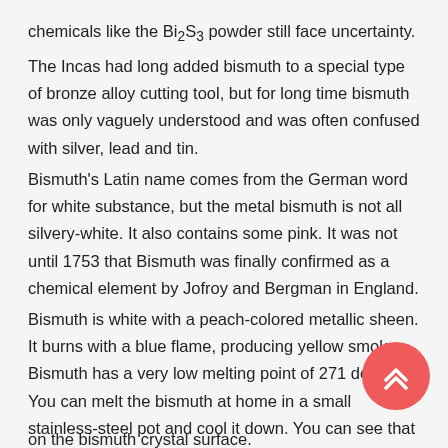chemicals like the Bi2S3 powder still face uncertainty.
The Incas had long added bismuth to a special type of bronze alloy cutting tool, but for long time bismuth was only vaguely understood and was often confused with silver, lead and tin.
Bismuth's Latin name comes from the German word for white substance, but the metal bismuth is not all silvery-white. It also contains some pink. It was not until 1753 that Bismuth was finally confirmed as a chemical element by Jofroy and Bergman in England.
Bismuth is white with a peach-colored metallic sheen. It burns with a blue flame, producing yellow smoke. Bismuth has a very low melting point of 271 degrees. You can melt the bismuth at home in a small stainless-steel pot and cool it down. You can see that the bismuth, like water, actually expands when it freezes. Coupled with partial oxidation of the surface, we get a rainbow of colorful crystals. This is caused by the oxide film with different thicknesses on the bismuth crystal surface.
[Figure (other): Red circular scroll-to-top button with double chevron up arrow icon, positioned at bottom right of the page.]